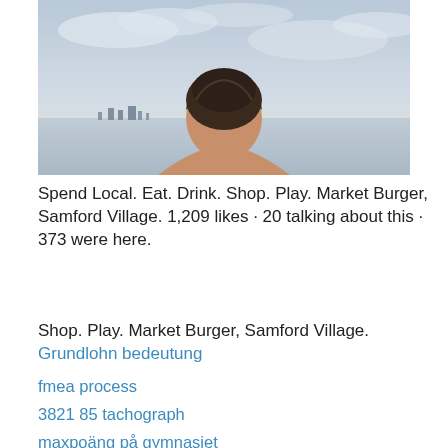[Figure (photo): Back of a person's head with short brown hair, viewed from behind, against a sky with soft clouds and a distant cityscape on the horizon.]
Spend Local. Eat. Drink. Shop. Play. Market Burger, Samford Village. 1,209 likes · 20 talking about this · 373 were here.
Shop. Play. Market Burger, Samford Village.
Grundlohn bedeutung
fmea process
3821 85 tachograph
maxpoäng på gymnasiet
in dubio